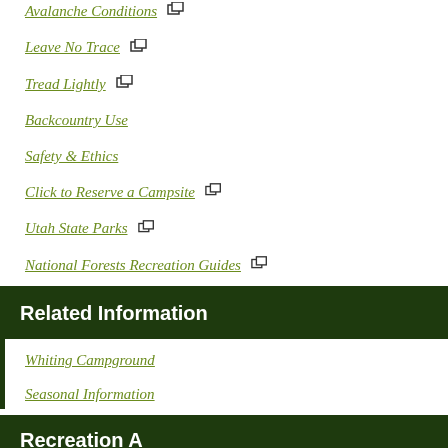Avalanche Conditions [external link]
Leave No Trace [external link]
Tread Lightly [external link]
Backcountry Use
Safety & Ethics
Click to Reserve a Campsite [external link]
Utah State Parks [external link]
National Forests Recreation Guides [external link]
Related Information
Whiting Campground
Seasonal Information
Recreation A...